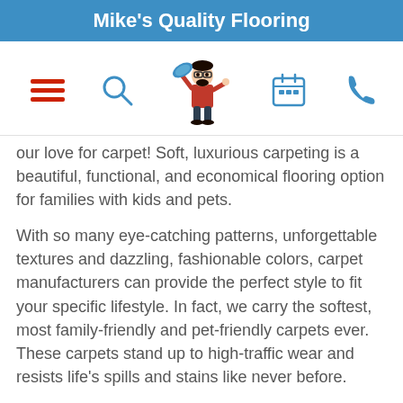Mike's Quality Flooring
[Figure (infographic): Navigation bar with hamburger menu (red lines), search icon (circle with handle), mascot logo (man carrying carpet roll), calendar icon, and phone icon]
our love for carpet! Soft, luxurious carpeting is a beautiful, functional, and economical flooring option for families with kids and pets.
With so many eye-catching patterns, unforgettable textures and dazzling, fashionable colors, carpet manufacturers can provide the perfect style to fit your specific lifestyle. In fact, we carry the softest, most family-friendly and pet-friendly carpets ever. These carpets stand up to high-traffic wear and resists life's spills and stains like never before.
Don't stress over dirt or spills. We carry incredible